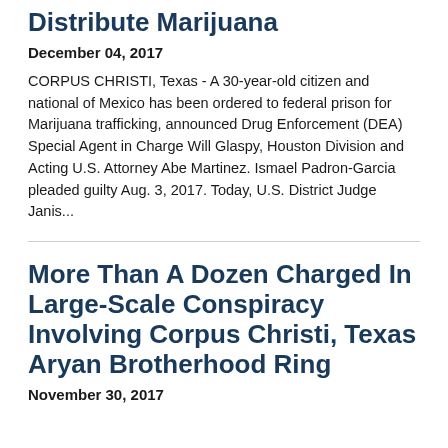Distribute Marijuana
December 04, 2017
CORPUS CHRISTI, Texas - A 30-year-old citizen and national of Mexico has been ordered to federal prison for Marijuana trafficking, announced Drug Enforcement (DEA) Special Agent in Charge Will Glaspy, Houston Division and Acting U.S. Attorney Abe Martinez. Ismael Padron-Garcia pleaded guilty Aug. 3, 2017. Today, U.S. District Judge Janis...
More Than A Dozen Charged In Large-Scale Conspiracy Involving Corpus Christi, Texas Aryan Brotherhood Ring
November 30, 2017